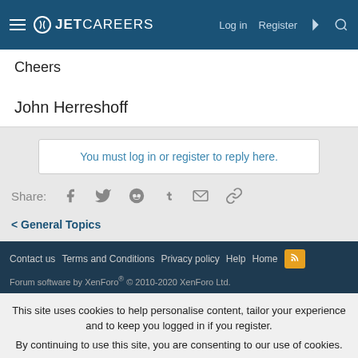JetCareers — Log in  Register
Cheers
John Herreshoff
You must log in or register to reply here.
Share:
General Topics
Contact us   Terms and Conditions   Privacy policy   Help   Home   Forum software by XenForo® © 2010-2020 XenForo Ltd.
This site uses cookies to help personalise content, tailor your experience and to keep you logged in if you register. By continuing to use this site, you are consenting to our use of cookies.